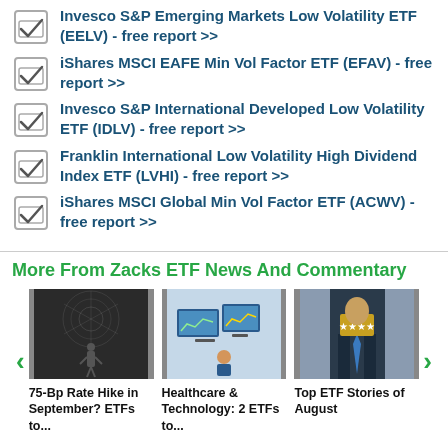Invesco S&P Emerging Markets Low Volatility ETF (EELV) - free report >>
iShares MSCI EAFE Min Vol Factor ETF (EFAV) - free report >>
Invesco S&P International Developed Low Volatility ETF (IDLV) - free report >>
Franklin International Low Volatility High Dividend Index ETF (LVHI) - free report >>
iShares MSCI Global Min Vol Factor ETF (ACWV) - free report >>
More From Zacks ETF News And Commentary
[Figure (photo): Black and white photo of a person standing in front of a glowing network/brain diagram]
75-Bp Rate Hike in September? ETFs to...
[Figure (photo): Person sitting at a desk with multiple computer monitors showing financial charts]
Healthcare & Technology: 2 ETFs to...
[Figure (photo): Person in business suit holding up a small gold object with stars, representing ratings]
Top ETF Stories of August